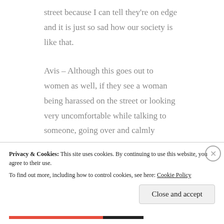street because I can tell they're on edge and it is just so sad how our society is like that.
Avis – Although this goes out to women as well, if they see a woman being harassed on the street or looking very uncomfortable while talking to someone, going over and calmly helping the woman away from the situation, like pretending to be a
Privacy & Cookies: This site uses cookies. By continuing to use this website, you agree to their use. To find out more, including how to control cookies, see here: Cookie Policy
Close and accept